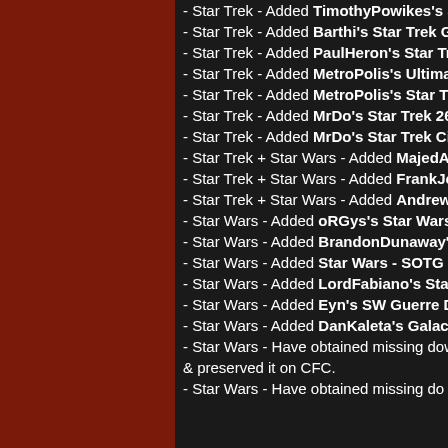- Star Trek - Added TimothyPowikes's Sta...
- Star Trek - Added Barthi's Star Trek Gala...
- Star Trek - Added PaulHeron's Star Trek...
- Star Trek - Added MetroPolis's Ultimate S...
- Star Trek - Added MetroPolis's Star Trek...
- Star Trek - Added MrDo's Star Trek 2600...
- Star Trek - Added MrDo's Star Trek Civ2...
- Star Trek + Star Wars - Added MajedAnar...
- Star Trek + Star Wars - Added FrankJohn...
- Star Trek + Star Wars - Added Andrew&C...
- Star Wars - Added oRGys's Star Wars sc...
- Star Wars - Added BrandonDunaway's S...
- Star Wars - Added Star Wars - SOTG sce...
- Star Wars - Added LordFabiano's Star W...
- Star Wars - Added Eyn's SW Guerre Des...
- Star Wars - Added DanKaleta's Galactic...
- Star Wars - Have obtained missing downlo... & preserved it on CFC.
- Star Wars - Have obtained missing do...